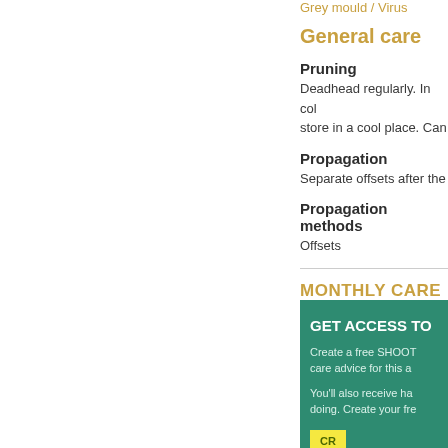Grey mould / Virus
General care
Pruning
Deadhead regularly. In col store in a cool place. Can
Propagation
Separate offsets after the
Propagation methods
Offsets
MONTHLY CARE A
GET ACCESS TO
Create a free SHOOT care advice for this a
You'll also receive ha doing. Create your fre
CR